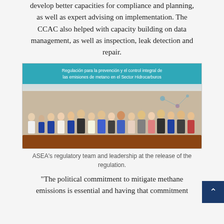develop better capacities for compliance and planning, as well as expert advising on implementation. The CCAC also helped with capacity building on data management, as well as inspection, leak detection and repair.
[Figure (photo): Group photo of ASEA's regulatory team and leadership standing in front of a banner that reads 'Regulación para la prevención y el control integral de las emisiones de metano en el Sector Hidrocarburos']
ASEA's regulatory team and leadership at the release of the regulation.
"The political commitment to mitigate methane emissions is essential and having that commitment